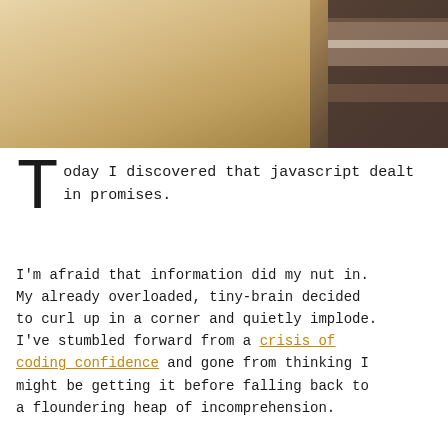[Figure (photo): Photograph showing a warm beige/tan background with a folded dark grey and light striped scarf or fabric on the right side.]
Today I discovered that javascript dealt in promises.
I'm afraid that information did my nut in. My already overloaded, tiny-brain decided to curl up in a corner and quietly implode. I've stumbled forward from a crisis of coding confidence and gone from thinking I might be getting it before falling back to a floundering heap of incomprehension.